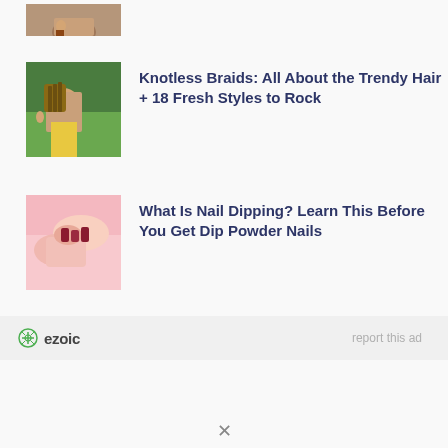[Figure (photo): Partial thumbnail of a woman's face at the top of the page]
[Figure (photo): Young woman with knotless braids wearing a yellow top, outdoors]
Knotless Braids: All About the Trendy Hair + 18 Fresh Styles to Rock
[Figure (photo): Hands with manicured nails on pink background, nail dipping]
What Is Nail Dipping? Learn This Before You Get Dip Powder Nails
ezoic
report this ad